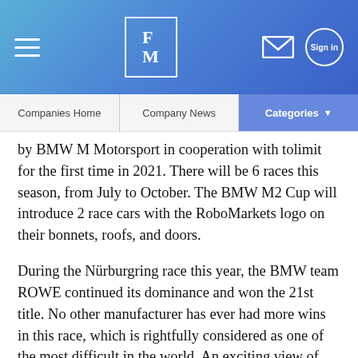FM — Companies Home | Company News | Categories
by BMW M Motorsport in cooperation with tolimit for the first time in 2021. There will be 6 races this season, from July to October. The BMW M2 Cup will introduce 2 race cars with the RoboMarkets logo on their bonnets, roofs, and doors.
During the Nürburgring race this year, the BMW team ROWE continued its dominance and won the 21st title. No other manufacturer has ever had more wins in this race, which is rightfully considered as one of the most difficult in the world. An exciting view of the Nürburgring–Nordschleife track and the duration, 24 hours, not only make the race in the Eifel mountains one of the most dramatic events in the GT calendar but also require total dedication and full commitment from drivers, teams, and their race cars.